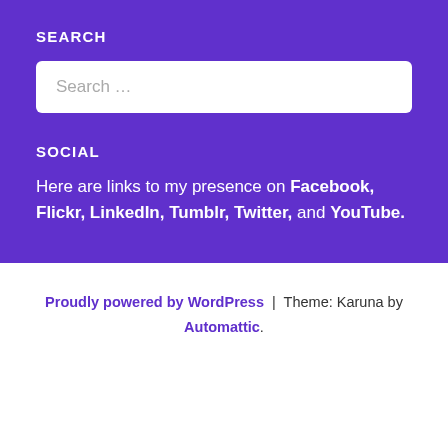SEARCH
Search …
SOCIAL
Here are links to my presence on Facebook, Flickr, LinkedIn, Tumblr, Twitter, and YouTube.
Proudly powered by WordPress | Theme: Karuna by Automattic.